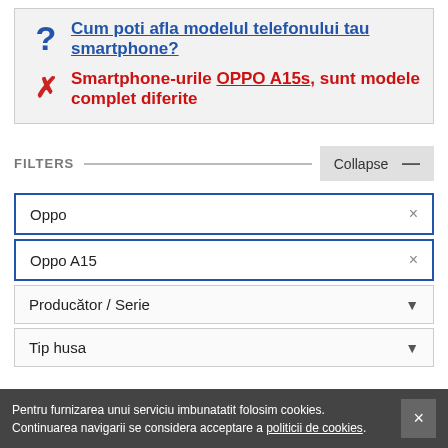Cum poti afla modelul telefonului tau smartphone?
Smartphone-urile OPPO A15s, sunt modele complet diferite
FILTERS
Oppo ×
Oppo A15 ×
Producător / Serie ▼
Tip husa ▼
Pentru furnizarea unui serviciu imbunatatit folosim cookies. Continuarea navigarii se considera acceptare a politicii de cookies.